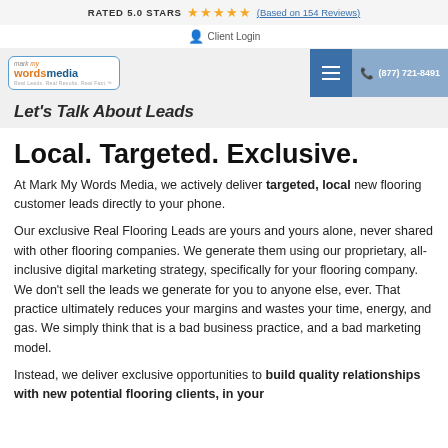RATED 5.0 STARS ★★★★★ (Based on 154 Reviews)
Client Login
mark my wordsmedia | ☰ | (877) 721-8491
Let's Talk About Leads
Local. Targeted. Exclusive.
At Mark My Words Media, we actively deliver targeted, local new flooring customer leads directly to your phone.
Our exclusive Real Flooring Leads are yours and yours alone, never shared with other flooring companies. We generate them using our proprietary, all-inclusive digital marketing strategy, specifically for your flooring company. We don't sell the leads we generate for you to anyone else, ever. That practice ultimately reduces your margins and wastes your time, energy, and gas. We simply think that is a bad business practice, and a bad marketing model.
Instead, we deliver exclusive opportunities to build quality relationships with new potential flooring clients, in your